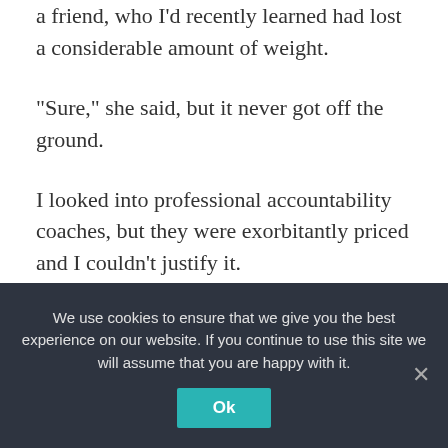a friend, who I'd recently learned had lost a considerable amount of weight.
“Sure,” she said, but it never got off the ground.
I looked into professional accountability coaches, but they were exorbitantly priced and I couldn’t justify it.
I ended up doing the only thing I knew how to do: I abstained. Of course, I couldn’t abstain from all food, but I could avoid what I knew were my triggers – sweet, sugary foods that
We use cookies to ensure that we give you the best experience on our website. If you continue to use this site we will assume that you are happy with it.